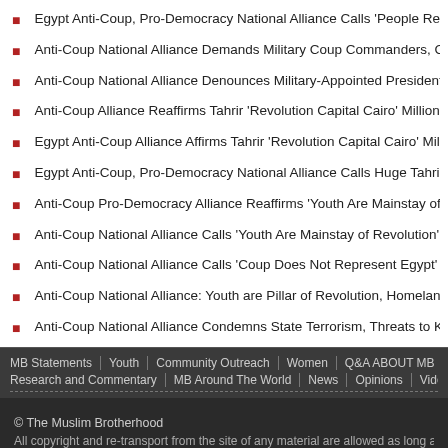Egypt Anti-Coup, Pro-Democracy National Alliance Calls 'People Regain October Sp…
Anti-Coup National Alliance Demands Military Coup Commanders, Collaborators Sto…
Anti-Coup National Alliance Denounces Military-Appointed President Statement on P…
Anti-Coup Alliance Reaffirms Tahrir 'Revolution Capital Cairo' Million-Man March Sun…
Egypt Anti-Coup Alliance Affirms Tahrir 'Revolution Capital Cairo' Million-Man March…
Egypt Anti-Coup, Pro-Democracy National Alliance Calls Huge Tahrir March Sunday,…
Anti-Coup Pro-Democracy Alliance Reaffirms 'Youth Are Mainstay of Revolution' Wee…
Anti-Coup National Alliance Calls 'Youth Are Mainstay of Revolution' Week Two
Anti-Coup National Alliance Calls 'Coup Does Not Represent Egypt' Protest Tuesday…
Anti-Coup National Alliance: Youth are Pillar of Revolution, Homeland and Future
Anti-Coup National Alliance Condemns State Terrorism, Threats to Kerdasa Town
MB Statements | Youth | Community Outreach | Women | Q&A ABOUT MB | Inte… Research and Commentary | MB Around The World | News | Opinions | Videos
© The Muslim Brotherhood
All copyright and re-transport from the site of any material are allowed as long as the sou…